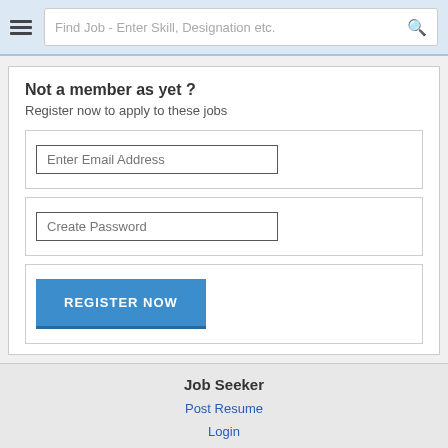Find Job - Enter Skill, Designation etc.
Not a member as yet ?
Register now to apply to these jobs
Enter Email Address
Create Password
REGISTER NOW
Job Seeker
Post Resume
Login
Fast Track Career
Resume Edge
Premium Seeker
Testimonials